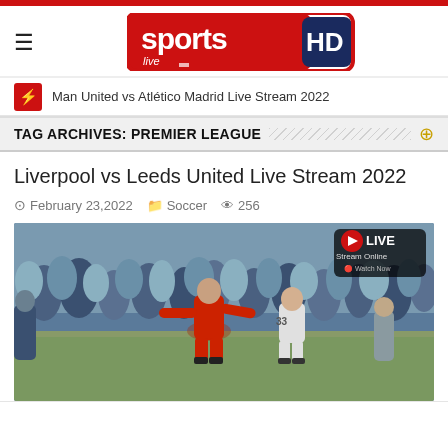[Figure (logo): Sports Live HD logo — red rounded rectangle with 'sports' in white and 'HD' in dark navy box]
Man United vs Atlético Madrid Live Stream 2022
TAG ARCHIVES: PREMIER LEAGUE
Liverpool vs Leeds United Live Stream 2022
February 23,2022   Soccer   256
[Figure (photo): Soccer match photo showing a player in red Liverpool kit (Mohamed Salah) dribbling against opponents in white, with crowd in background. LIVE Stream Online badge in upper right.]